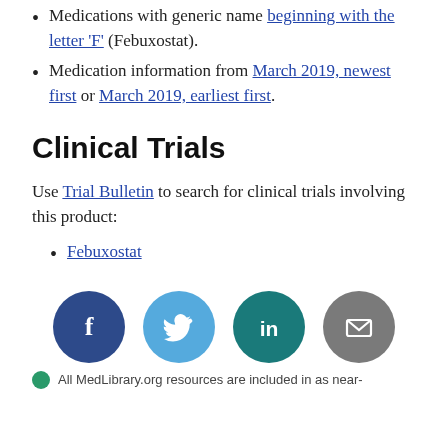Medications with generic name beginning with the letter 'F' (Febuxostat).
Medication information from March 2019, newest first or March 2019, earliest first.
Clinical Trials
Use Trial Bulletin to search for clinical trials involving this product:
Febuxostat
[Figure (infographic): Social media sharing icons: Facebook, Twitter, LinkedIn, Email]
All MedLibrary.org resources are included in as near-